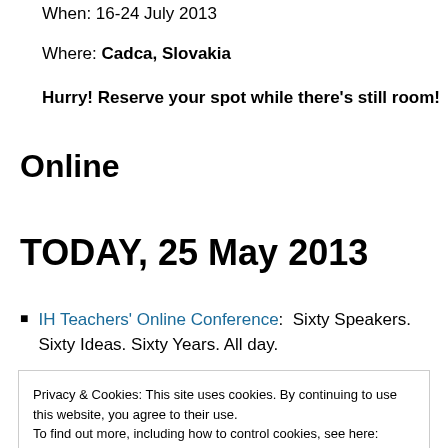When: 16-24 July 2013
Where: Cadca, Slovakia
Hurry! Reserve your spot while there's still room!
Online
TODAY, 25 May 2013
IH Teachers' Online Conference:  Sixty Speakers. Sixty Ideas. Sixty Years. All day.
Privacy & Cookies: This site uses cookies. By continuing to use this website, you agree to their use.
To find out more, including how to control cookies, see here: Cookie Policy